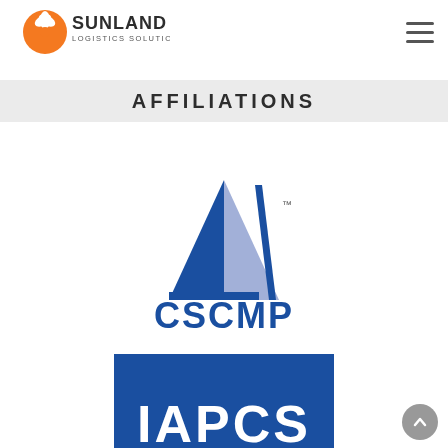[Figure (logo): Sunland Logistics Solutions logo: orange circle with white flower/propeller shape, with company name in dark text below]
[Figure (logo): Hamburger menu icon (three horizontal lines)]
AFFILIATIONS
[Figure (logo): CSCMP logo: stylized blue triangle/arrow graphic with 'CSCMP' text in blue below and trademark symbol]
[Figure (logo): Blue rectangle with partially visible white logo text at bottom, belonging to an organization starting with letters resembling IAPCS or similar]